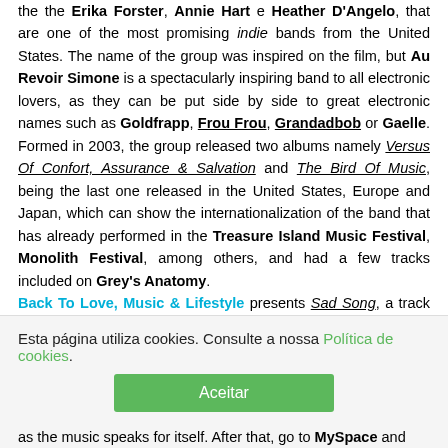the the Erika Forster, Annie Hart e Heather D'Angelo, that are one of the most promising indie bands from the United States. The name of the group was inspired on the film, but Au Revoir Simone is a spectacularly inspiring band to all electronic lovers, as they can be put side by side to great electronic names such as Goldfrapp, Frou Frou, Grandadbob or Gaelle. Formed in 2003, the group released two albums namely Versus Of Confort, Assurance & Salvation and The Bird Of Music, being the last one released in the United States, Europe and Japan, which can show the internationalization of the band that has already performed in the Treasure Island Music Festival, Monolith Festival, among others, and had a few tracks included on Grey's Anatomy. Back To Love, Music & Lifestyle presents Sad Song, a track that mixes a melancholic and soft voice with an electronic melody fantastically combined with the lyrics: Play Me a Sad Song/
Esta página utiliza cookies. Consulte a nossa Política de cookies.
Aceitar
as the music speaks for itself. After that, go to MySpace and